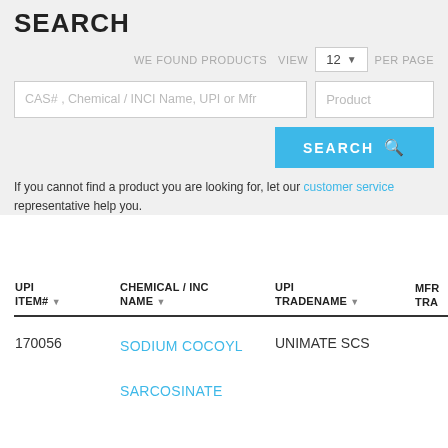SEARCH
WE FOUND PRODUCTS   VIEW   12 ▼   PER PAGE
CAS# , Chemical / INCI Name, UPI or Mfr   Product
SEARCH 🔍
If you cannot find a product you are looking for, let our customer service representative help you.
| UPI ITEM# | CHEMICAL / INC NAME | UPI TRADENAME | MFR TRA... |
| --- | --- | --- | --- |
| 170056 | SODIUM COCOYL SARCOSINATE | UNIMATE SCS |  |